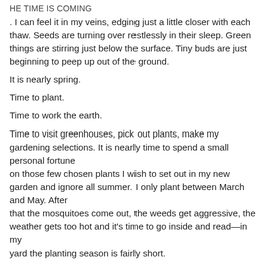HE TIME IS COMING
. I can feel it in my veins, edging just a little closer with each thaw. Seeds are turning over restlessly in their sleep. Green things are stirring just below the surface. Tiny buds are just beginning to peep up out of the ground.
It is nearly spring.
Time to plant.
Time to work the earth.
Time to visit greenhouses, pick out plants, make my gardening selections. It is nearly time to spend a small personal fortune on those few chosen plants I wish to set out in my new garden and ignore all summer. I only plant between March and May. After that the mosquitoes come out, the weeds get aggressive, the weather gets too hot and it’s time to go inside and read—in my yard the planting season is fairly short.